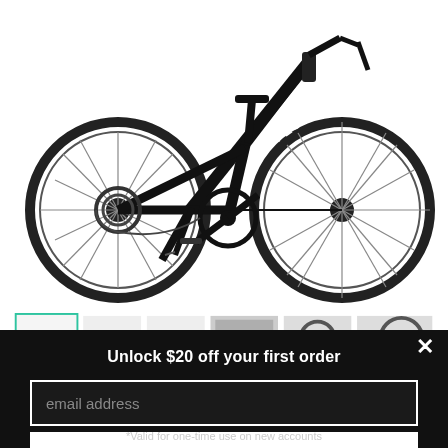[Figure (photo): Black Specialized road bicycle on white background, side view showing full frame, wheels, drivetrain and handlebars]
[Figure (photo): Thumbnail strip showing multiple views of the bicycle, first thumbnail selected with teal border]
Unlock $20 off your first order
email address
UNLOCK $20 OFF
*Valid for one-time use on new accounts